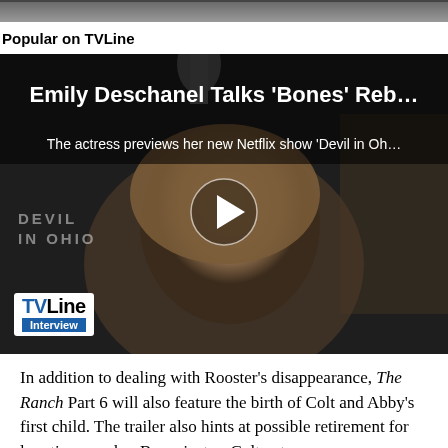[Figure (screenshot): Top image strip showing partial video/photo content from a previous section]
Popular on TVLine
[Figure (screenshot): Video thumbnail showing Emily Deschanel with play button overlay. Title: 'Emily Deschanel Talks Bones Reb...' Subtitle: 'The actress previews her new Netflix show Devil in Oh...' TVLine Interview badge in lower left corner.]
In addition to dealing with Rooster's disappearance, The Ranch Part 6 will also feature the birth of Colt and Abby's first child. The trailer also hints at possible retirement for longtime rancher Beau, just as Colt gets a